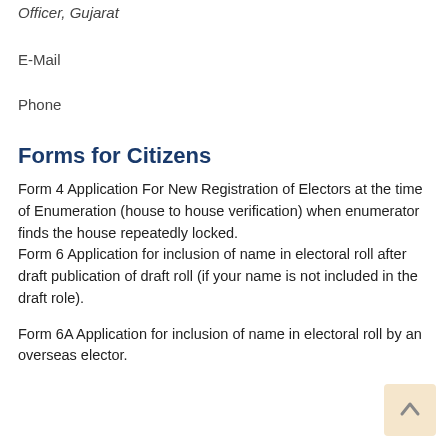Officer, Gujarat
E-Mail
Phone
Forms for Citizens
Form 4 Application For New Registration of Electors at the time of Enumeration (house to house verification) when enumerator finds the house repeatedly locked.
Form 6 Application for inclusion of name in electoral roll after draft publication of draft roll (if your name is not included in the draft role).
Form 6A Application for inclusion of name in electoral roll by an overseas elector.